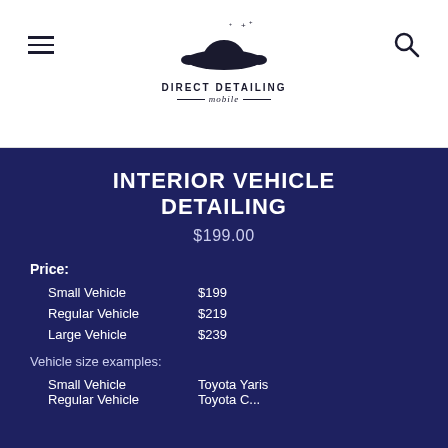[Figure (logo): Direct Detailing Mobile logo with car silhouette and sparkles, with text 'DIRECT DETAILING mobile']
INTERIOR VEHICLE DETAILING
$199.00
Price:
Small Vehicle   $199
Regular Vehicle   $219
Large Vehicle   $239
Vehicle size examples:
Small Vehicle   Toyota Yaris
Regular Vehicle   Toyota C...